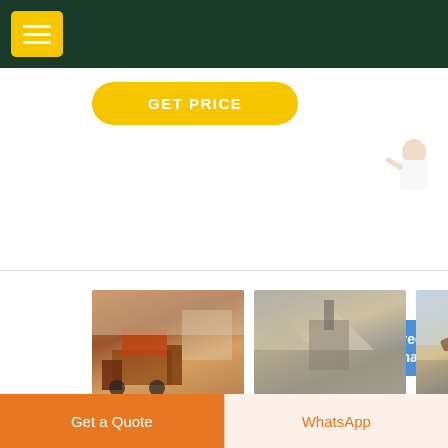Navigation header with menu button
GET PRICE
[Figure (photo): Three mining/crushing equipment photos side by side]
Coal Mining Flow Sheet Symbols - Linquendalandgoed
Get a Quote
WhatsApp
[Figure (illustration): Customer service representative with Free chat button widget]